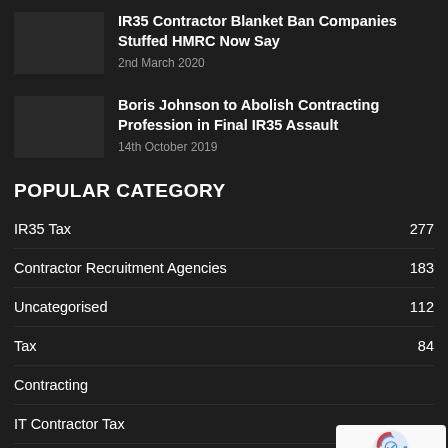IR35 Contractor Blanket Ban Companies Stuffed HMRC Now Say
2nd March 2020
Boris Johnson to Abolish Contracting Profession in Final IR35 Assault
14th October 2019
POPULAR CATEGORY
IR35 Tax 277
Contractor Recruitment Agencies 183
Uncategorised 112
Tax 84
Contracting
IT Contractor Tax
Contractor Stories 55